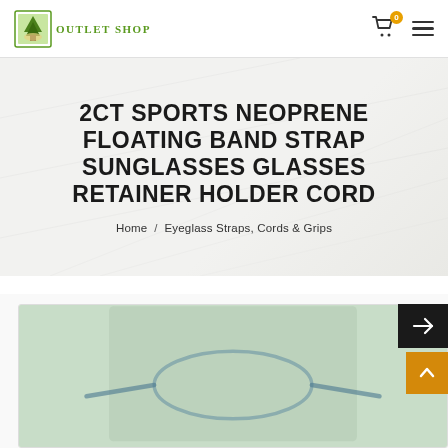Outlet Shop — Home / Eyeglass Straps, Cords & Grips
2CT SPORTS NEOPRENE FLOATING BAND STRAP SUNGLASSES GLASSES RETAINER HOLDER CORD
Home / Eyeglass Straps, Cords & Grips
[Figure (screenshot): Product image area for sports neoprene floating band strap sunglasses glasses retainer holder cord, partially visible at bottom of page]